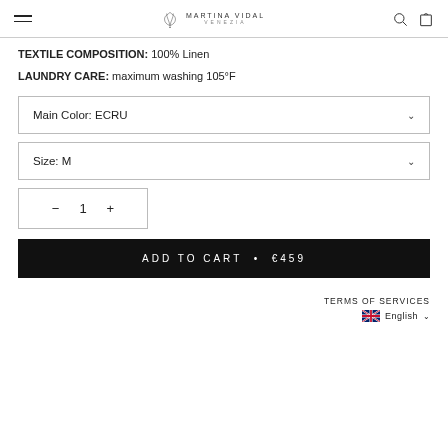Martina Vidal Venezia
TEXTILE COMPOSITION: 100% Linen
LAUNDRY CARE: maximum washing 105°F
Main Color: ECRU
Size: M
− 1 +
ADD TO CART • €459
TERMS OF SERVICES  English